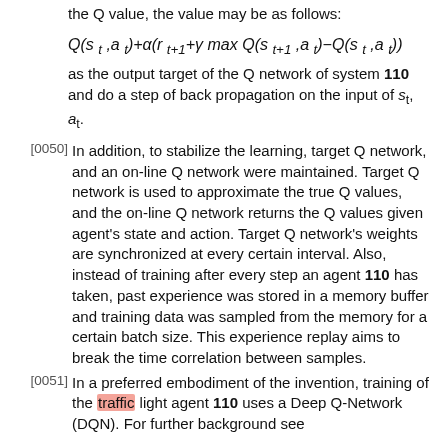the Q value, the value may be as follows:
as the output target of the Q network of system 110 and do a step of back propagation on the input of s_t, a_t.
[0050] In addition, to stabilize the learning, target Q network, and an on-line Q network were maintained. Target Q network is used to approximate the true Q values, and the on-line Q network returns the Q values given agent's state and action. Target Q network's weights are synchronized at every certain interval. Also, instead of training after every step an agent 110 has taken, past experience was stored in a memory buffer and training data was sampled from the memory for a certain batch size. This experience replay aims to break the time correlation between samples.
[0051] In a preferred embodiment of the invention, training of the traffic light agent 110 uses a Deep Q-Network (DQN). For further background see